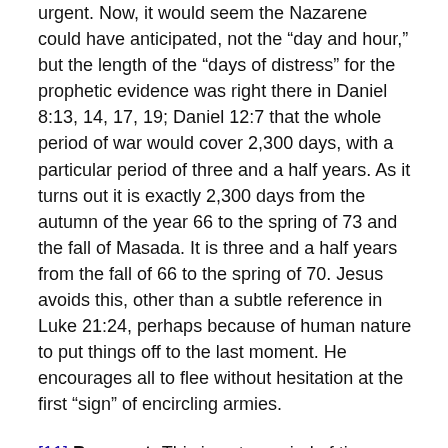urgent. Now, it would seem the Nazarene could have anticipated, not the “day and hour,” but the length of the “days of distress” for the prophetic evidence was right there in Daniel 8:13, 14, 17, 19; Daniel 12:7 that the whole period of war would cover 2,300 days, with a particular period of three and a half years. As it turns out it is exactly 2,300 days from the autumn of the year 66 to the spring of 73 and the fall of Masada. It is three and a half years from the fall of 66 to the spring of 70. Jesus avoids this, other than a subtle reference in Luke 21:24, perhaps because of human nature to put things off to the last moment. He encourages all to flee without hesitation at the first “sign” of encircling armies.
[11] Pregnant: This is not a period of time longer than nine months or covering many years as Jesus’ warning to women shows. It may include those years during which a